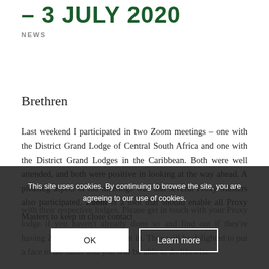– 3 JULY 2020
NEWS
Brethren
Last weekend I participated in two Zoom meetings – one with the District Grand Lodge of Central South Africa and one with the District Grand Lodges in the Caribbean. Both were well attended, and both were positive in looking at the way ahead. A pleasing aspect of the meetings was that several Proxy Masters also participated. Zoom is a tool that should enable all Proxy Masters to keep in close contact with their respective lodges. Please get in touch with your Proxy lodge if you haven't already done so and find out if they're having Zoom meetings and join in. They will be delighted to put a face to the name and you will be able to do likewise.
This site uses cookies. By continuing to browse the site, you are agreeing to our use of cookies.